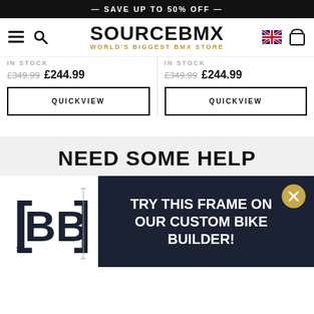— SAVE UP TO 50% OFF —
[Figure (logo): SourceBMX logo with text 'WORLD'S BIGGEST BMX STORE' below, hamburger menu icon, search icon, UK flag icon, and shopping bag icon in header]
IN STOCK
£349.99 £244.99
IN STOCK
£349.99 £244.99
QUICKVIEW
QUICKVIEW
NEED SOME HELP
[Figure (logo): Source BMX Bike Builder logo — white BB letters on dark navy background with bracket frame and small 's' subscript]
TRY THIS FRAME ON OUR CUSTOM BIKE BUILDER!